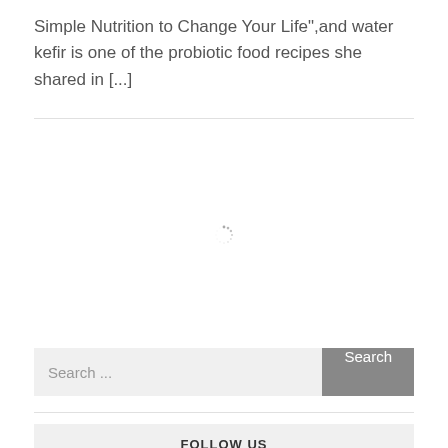Simple Nutrition to Change Your Life",and water kefir is one of the probiotic food recipes she shared in [...]
[Figure (other): Loading spinner icon in the center of a blank area]
Search ...
FOLLOW US